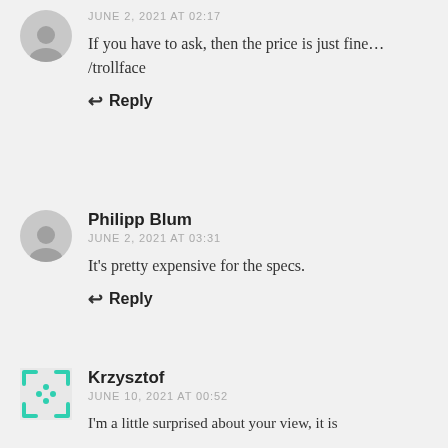JUNE 2, 2021 AT 02:17
If you have to ask, then the price is just fine…
/trollface
Reply
Philipp Blum
JUNE 2, 2021 AT 03:31
It's pretty expensive for the specs.
Reply
Krzysztof
JUNE 10, 2021 AT 00:52
I'm a little surprised about your view, it is